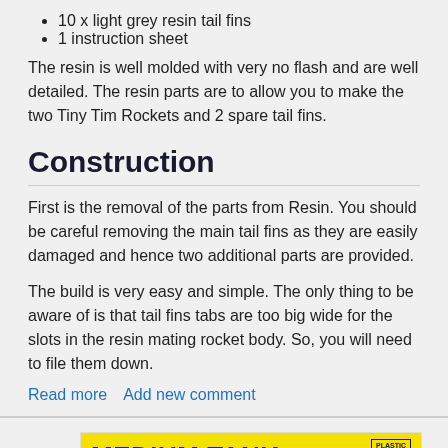10 x light grey resin tail fins
1 instruction sheet
The resin is well molded with very no flash and are well detailed. The resin parts are to allow you to make the two Tiny Tim Rockets and 2 spare tail fins.
Construction
First is the removal of the parts from Resin. You should be careful removing the main tail fins as they are easily damaged and hence two additional parts are provided.
The build is very easy and simple. The only thing to be aware of is that tail fins tabs are too big wide for the slots in the resin mating rocket body. So, you will need to file them down.
Read more   Add new comment
[Figure (other): Advertisement banner for MEDIUM TANK — German Army and Waffen-SS, Normandy Campaign, Summer 1944. Yellow background with bold black text and a small photo.]